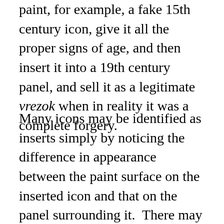paint, for example, a fake 15th century icon, give it all the proper signs of age, and then insert it into a 19th century panel, and sell it as a legitimate vrezok when in reality it was a complete forgery.
Many icons may be identified as inserts simply by noticing the difference in appearance between the paint surface on the inserted icon and that on the panel surrounding it.  There may also be an unevenness of the level around the edge of the insert, where it joins the newer panel.  Sometimes, however, the panel into which an old or fake old icon was set was also